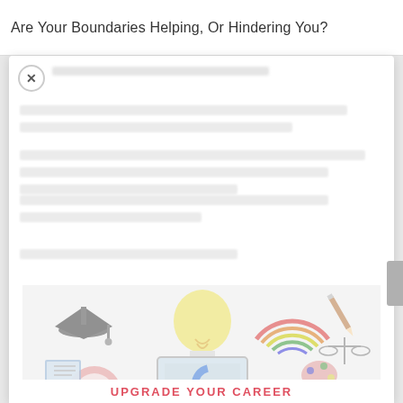Are Your Boundaries Helping, Or Hindering You?
[Figure (screenshot): A modal/popup overlay on a webpage showing blurred article text and an education infographic. The infographic features icons for education (graduation cap, lightbulb, laptop, gears, target, paint palette, rainbow, scales of justice, books), silhouettes of professional people at the bottom, and the text 'UPGRADE YOUR CAREER' in red/coral letters. A close (X) button appears in the top-left of the modal.]
UPGRADE YOUR CAREER